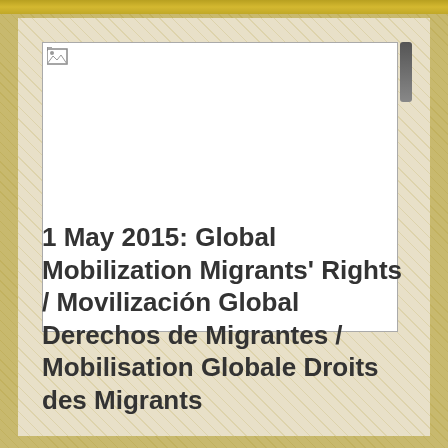[Figure (photo): Placeholder image box with broken image icon in top-left corner, large white rectangle with thin border]
1 May 2015: Global Mobilization Migrants' Rights / Movilización Global Derechos de Migrantes / Mobilisation Globale Droits des Migrants